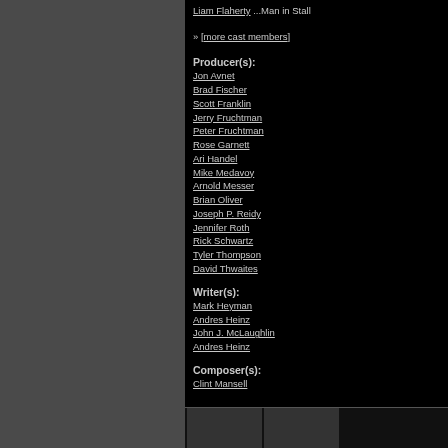Liam Flaherty ...Man in Stall
» [more cast members]
Producer(s):
Jon Avnet
Brad Fischer
Scott Franklin
Jerry Fruchtman
Peter Fruchtman
Rose Garnett
Ari Handel
Mike Medavoy
Arnold Messer
Brian Oliver
Joseph P. Reidy
Jennifer Roth
Rick Schwartz
Tyler Thompson
David Thwaites
Writer(s):
Mark Heyman
Andres Heinz
John J. McLaughlin
Andres Heinz
Composer(s):
Clint Mansell